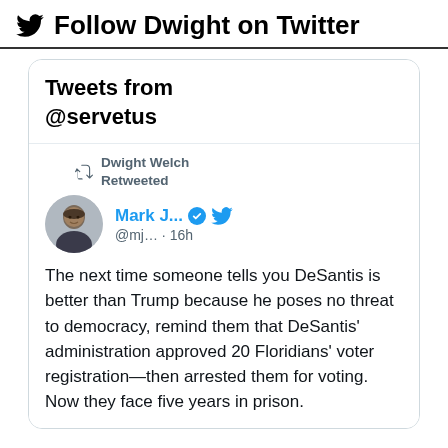Follow Dwight on Twitter
[Figure (screenshot): Twitter widget showing Tweets from @servetus. Dwight Welch Retweeted a tweet by Mark J... (@mj... · 16h): 'The next time someone tells you DeSantis is better than Trump because he poses no threat to democracy, remind them that DeSantis' administration approved 20 Floridians' voter registration—then arrested them for voting. Now they face five years in prison.']